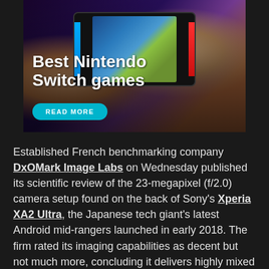[Figure (photo): Advertisement banner showing hands holding a Nintendo Switch gaming console with colorful Joy-Con controllers (blue left, red right), displaying a game on screen. Text overlay reads 'Best Nintendo Switch games' with a 'READ MORE' button.]
Established French benchmarking company DxOMark Image Labs on Wednesday published its scientific review of the 23-megapixel (f/2.0) camera setup found on the back of Sony's Xperia XA2 Ultra, the Japanese tech giant's latest Android mid-rangers launched in early 2018. The firm rated its imaging capabilities as decent but not much more, concluding it delivers highly mixed results and awarding it an ultimate score of 75 on its non-finite